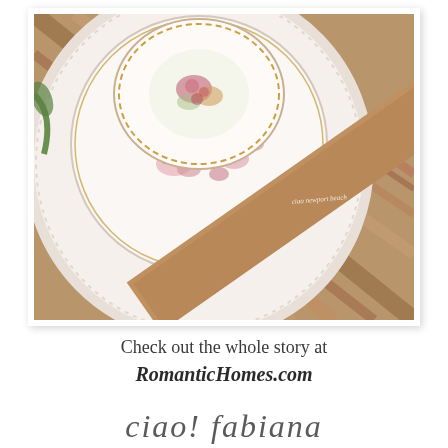[Figure (photo): Top-down view of stacked decorative china plates with pink floral patterns on a rustic wooden table. A beaded white charger plate holds smaller ornate pink floral plates. Watermark reads 'ciao newport beach' in the lower right area of the image.]
Check out the whole story at RomanticHomes.com
ciao! fabiana